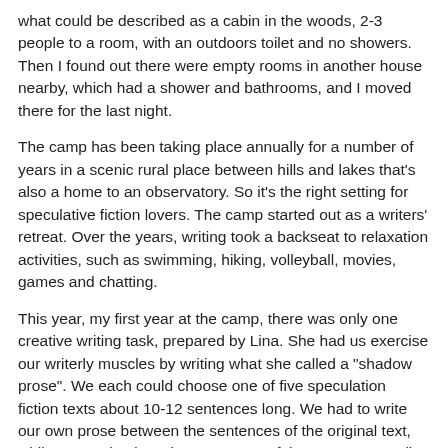what could be described as a cabin in the woods, 2-3 people to a room, with an outdoors toilet and no showers. Then I found out there were empty rooms in another house nearby, which had a shower and bathrooms, and I moved there for the last night.
The camp has been taking place annually for a number of years in a scenic rural place between hills and lakes that's also a home to an observatory. So it's the right setting for speculative fiction lovers. The camp started out as a writers' retreat. Over the years, writing took a backseat to relaxation activities, such as swimming, hiking, volleyball, movies, games and chatting.
This year, my first year at the camp, there was only one creative writing task, prepared by Lina. She had us exercise our writerly muscles by writing what she called a "shadow prose". We each could choose one of five speculation fiction texts about 10-12 sentences long. We had to write our own prose between the sentences of the original text, while preserving its coherence. Two of the texts were well known -- "Alice in Wonderland" and Robert Silverberg's "To See the Invisible Man" -- among others which I had not heard of before.